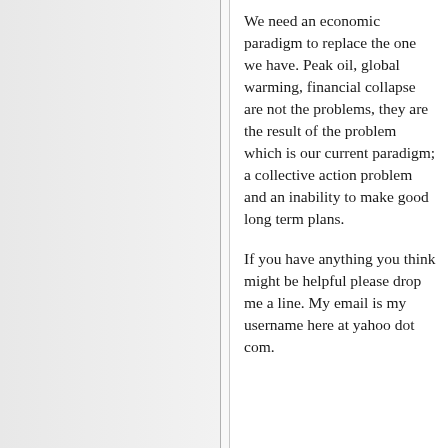We need an economic paradigm to replace the one we have. Peak oil, global warming, financial collapse are not the problems, they are the result of the problem which is our current paradigm; a collective action problem and an inability to make good long term plans.
If you have anything you think might be helpful please drop me a line. My email is my username here at yahoo dot com.